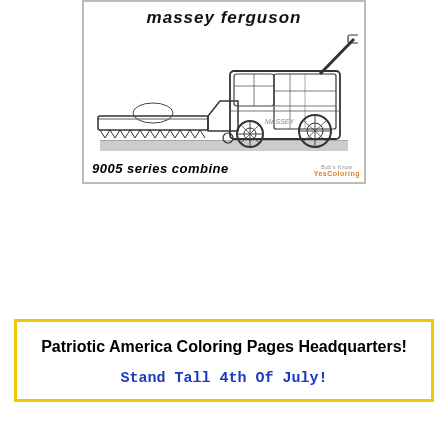[Figure (illustration): Coloring page thumbnail showing a Massey Ferguson 9005 series combine harvester with title text 'massey ferguson' at top and '9005 series combine' at bottom, with a YesColoring.com logo badge]
Patriotic America Coloring Pages Headquarters!
Stand Tall 4th Of July!